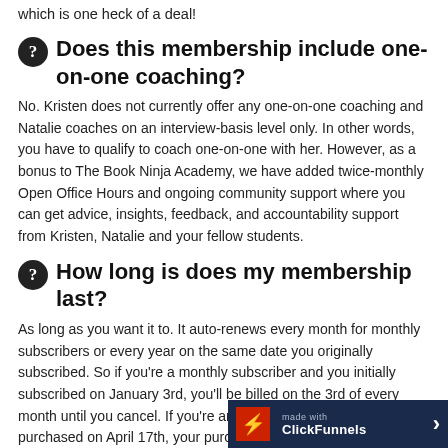which is one heck of a deal!
Does this membership include one-on-one coaching?
No. Kristen does not currently offer any one-on-one coaching and Natalie coaches on an interview-basis level only. In other words, you have to qualify to coach one-on-one with her. However, as a bonus to The Book Ninja Academy, we have added twice-monthly Open Office Hours and ongoing community support where you can get advice, insights, feedback, and accountability support from Kristen, Natalie and your fellow students.
How long is does my membership last?
As long as you want it to. It auto-renews every month for monthly subscribers or every year on the same date you originally subscribed. So if you're a monthly subscriber and you initially subscribed on January 3rd, you'll be billed on the 3rd of every month until you cancel. If you're an annual subscriber and you purchased on April 17th, your purchase will 17th of the next year unless you cancel.